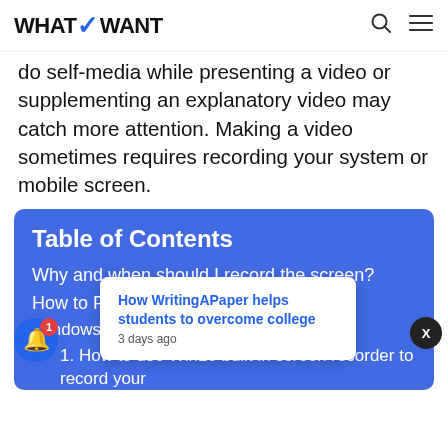WHATVWANT
do self-media while presenting a video or supplementing an explanatory video may catch more attention. Making a video sometimes requires recording your system or mobile screen.
Table of Contents
Why and when should I record the screen?
How to P... Windows...
1. How to use Win10 built in screen recorder to record your